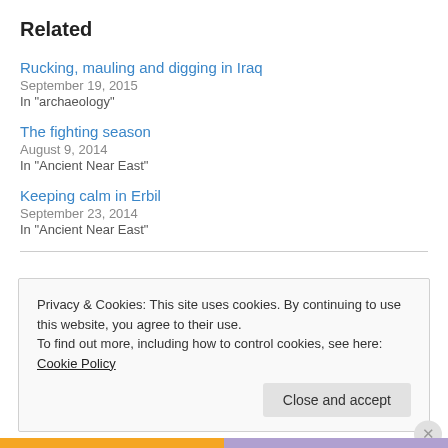Related
Rucking, mauling and digging in Iraq
September 19, 2015
In "archaeology"
The fighting season
August 9, 2014
In "Ancient Near East"
Keeping calm in Erbil
September 23, 2014
In "Ancient Near East"
Privacy & Cookies: This site uses cookies. By continuing to use this website, you agree to their use.
To find out more, including how to control cookies, see here: Cookie Policy
Close and accept